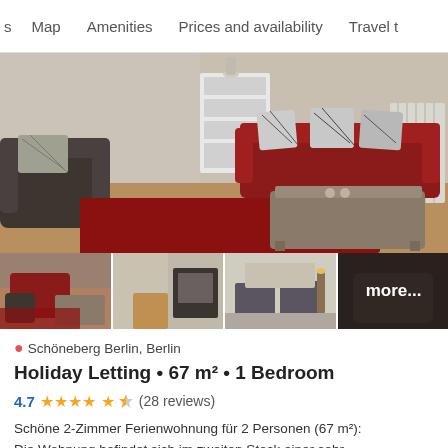s   Map   Amenities   Prices and availability   Travel t
[Figure (photo): Main photo of a furnished living room with a red sofa with striped pillows, a dark armchair, a coffee table on a red rug, and a white bookcase. Below are three thumbnail photos of the apartment and a fourth 'more...' panel.]
Schöneberg Berlin, Berlin
Holiday Letting • 67 m² • 1 Bedroom
4.7 ★★★★☆ (28 reviews)
Schöne 2-Zimmer Ferienwohnung für 2 Personen (67 m²): Die Wohnung befindet sich im zweiten Stock einer sehr gepflegten Wohnanlage mit 9 Etagen und hat eine sehr gute Anbindung an das öffentliche Verkehrsnetz. Sie